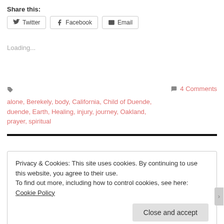Share this:
Twitter  Facebook  Email
Loading...
alone, Berekely, body, California, Child of Duende, duende, Earth, Healing, injury, journey, Oakland, prayer, spiritual
4 Comments
Privacy & Cookies: This site uses cookies. By continuing to use this website, you agree to their use.
To find out more, including how to control cookies, see here: Cookie Policy
Close and accept